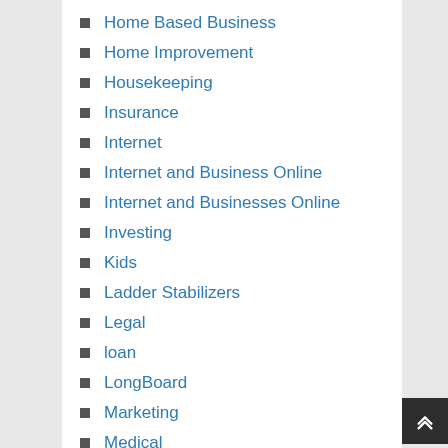Home Based Business
Home Improvement
Housekeeping
Insurance
Internet
Internet and Business Online
Internet and Businesses Online
Investing
Kids
Ladder Stabilizers
Legal
loan
LongBoard
Marketing
Medical